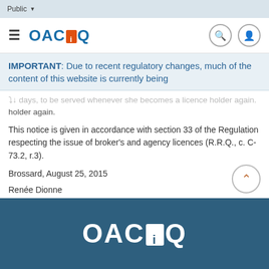Public
[Figure (logo): OACIQ logo in navigation bar with hamburger menu, search icon, and user icon]
IMPORTANT: Due to recent regulatory changes, much of the content of this website is currently being
...days, to be served whenever she becomes a licence holder again.
This notice is given in accordance with section 33 of the Regulation respecting the issue of broker's and agency licences (R.R.Q., c. C-73.2, r.3).
Brossard, August 25, 2015
Renée Dionne
Discipline Committee Secretary
[Figure (logo): OACIQ footer logo in white on dark blue background]